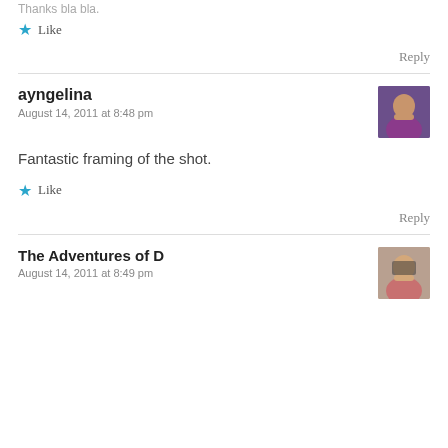Thanks bla bla.
★ Like
Reply
ayngelina
August 14, 2011 at 8:48 pm
Fantastic framing of the shot.
★ Like
Reply
The Adventures of D
August 14, 2011 at 8:49 pm